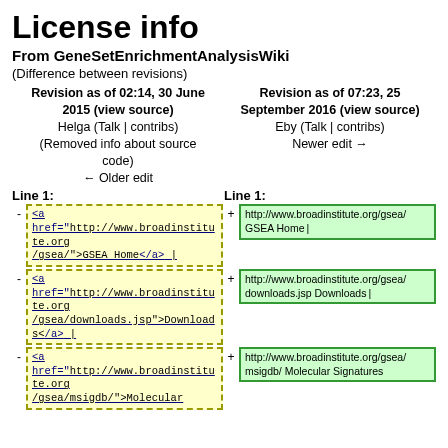License info
From GeneSetEnrichmentAnalysisWiki
(Difference between revisions)
| Revision as of 02:14, 30 June 2015 (view source) | Revision as of 07:23, 25 September 2016 (view source) |
| --- | --- |
| Helga (Talk | contribs) | Eby (Talk | contribs) |
| (Removed info about source code) | Newer edit → |
| ← Older edit |  |
Line 1:   Line 1:
- <a href="http://www.broadinstitute.org/gsea/">GSEA Home</a> |   + http://www.broadinstitute.org/gsea/ GSEA Home |
- <a href="http://www.broadinstitute.org/gsea/downloads.jsp">Downloads</a> |   + http://www.broadinstitute.org/gsea/downloads.jsp Downloads |
- <a href="http://www.broadinstitute.org/gsea/msigdb/">Molecular...   + http://www.broadinstitute.org/gsea/msigdb/ Molecular Signatures